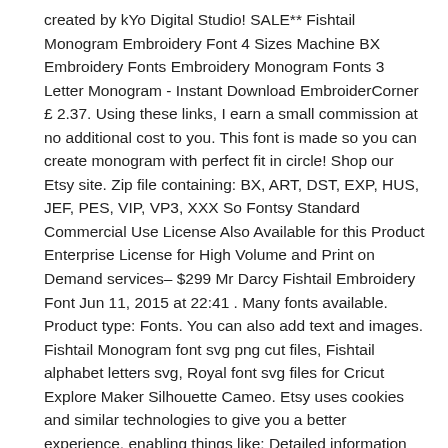created by kYo Digital Studio! SALE** Fishtail Monogram Embroidery Font 4 Sizes Machine BX Embroidery Fonts Embroidery Monogram Fonts 3 Letter Monogram - Instant Download EmbroiderCorner £ 2.37. Using these links, I earn a small commission at no additional cost to you. This font is made so you can create monogram with perfect fit in circle! Shop our Etsy site. Zip file containing: BX, ART, DST, EXP, HUS, JEF, PES, VIP, VP3, XXX So Fontsy Standard Commercial Use License Also Available for this Product Enterprise License for High Volume and Print on Demand services– $299 Mr Darcy Fishtail Embroidery Font Jun 11, 2015 at 22:41 . Many fonts available. Product type: Fonts. You can also add text and images. Fishtail Monogram font svg png cut files, Fishtail alphabet letters svg, Royal font svg files for Cricut Explore Maker Silhouette Cameo. Etsy uses cookies and similar technologies to give you a better experience, enabling things like: Detailed information can be found in Etsy's Cookies & Similar Technologies Policy and our Privacy Policy. in: SVG FONTS - Popular Fonts. Quantity Reg. File format . Customize fonts, color schemes and more.... There are 1126 fishtail embroidery font for sale on Etsy, and they cost $5.14 on average. Classic, vine, diamond, fishtail monogram fonts and frames; Tips for Using Monogram Fonts in Crafting Downloading and installing fonts. Installable on any computer and can be used with any software. Fonts. The following